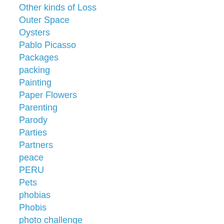Other kinds of Loss
Outer Space
Oysters
Pablo Picasso
Packages
packing
Painting
Paper Flowers
Parenting
Parody
Parties
Partners
peace
PERU
Pets
phobias
Phobis
photo challenge
Photo Challenges
photo of color